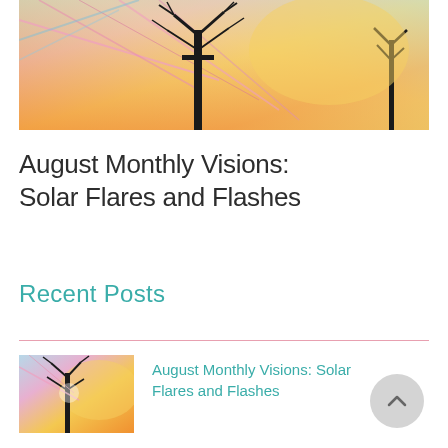[Figure (photo): Colorful sunset sky with bare tree silhouettes; streaks of pink, yellow, and blue light]
August Monthly Visions: Solar Flares and Flashes
Recent Posts
[Figure (photo): Small thumbnail of colorful sunset sky with bare tree silhouette]
August Monthly Visions: Solar Flares and Flashes